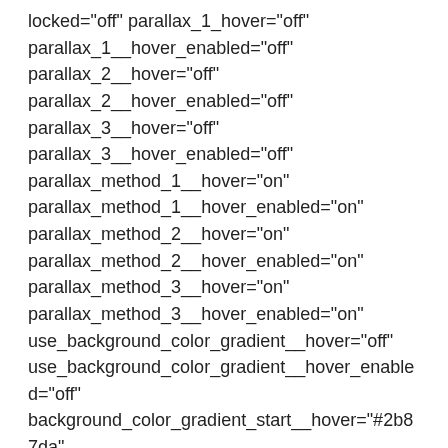locked="off" parallax_1_hover="off" parallax_1__hover_enabled="off" parallax_2__hover="off" parallax_2__hover_enabled="off" parallax_3__hover="off" parallax_3__hover_enabled="off" parallax_method_1__hover="on" parallax_method_1__hover_enabled="on" parallax_method_2__hover="on" parallax_method_2__hover_enabled="on" parallax_method_3__hover="on" parallax_method_3__hover_enabled="on" use_background_color_gradient__hover="off" use_background_color_gradient__hover_enabled="off" background_color_gradient_start__hover="#2b87da" background_color_gradient_start__hover_enabled="#2b87da" background_color_gradient_end__hover="#29c4a9"